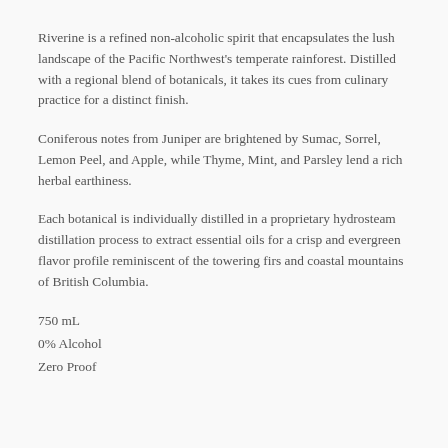Riverine is a refined non-alcoholic spirit that encapsulates the lush landscape of the Pacific Northwest's temperate rainforest. Distilled with a regional blend of botanicals, it takes its cues from culinary practice for a distinct finish.
Coniferous notes from Juniper are brightened by Sumac, Sorrel, Lemon Peel, and Apple, while Thyme, Mint, and Parsley lend a rich herbal earthiness.
Each botanical is individually distilled in a proprietary hydrosteam distillation process to extract essential oils for a crisp and evergreen flavor profile reminiscent of the towering firs and coastal mountains of British Columbia.
750 mL
0% Alcohol
Zero Proof